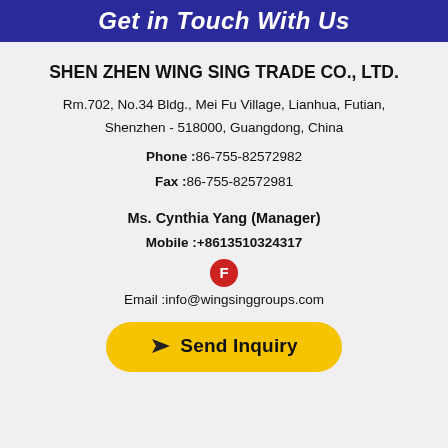Get in Touch With Us
SHEN ZHEN WING SING TRADE CO., LTD.
Rm.702, No.34 Bldg., Mei Fu Village, Lianhua, Futian, Shenzhen - 518000, Guangdong, China
Phone :86-755-82572982
Fax :86-755-82572981
Ms. Cynthia Yang (Manager)
Mobile :+8613510324317
[Figure (logo): Red circular icon with letter F]
Email :info@wingsinggroups.com
Send Inquiry